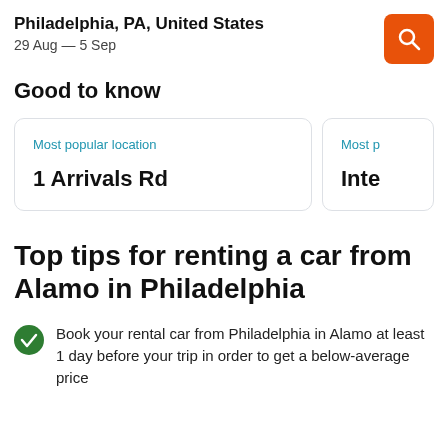Philadelphia, PA, United States
29 Aug – 5 Sep
Good to know
Most popular location
1 Arrivals Rd
Most p
Inte
Top tips for renting a car from Alamo in Philadelphia
Book your rental car from Philadelphia in Alamo at least 1 day before your trip in order to get a below-average price